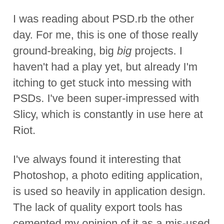I was reading about PSD.rb the other day. For me, this is one of those really ground-breaking, big big projects. I haven't had a play yet, but already I'm itching to get stuck into messing with PSDs. I've been super-impressed with Slicy, which is constantly in use here at Riot.
I've always found it interesting that Photoshop, a photo editing application, is used so heavily in application design. The lack of quality export tools has cemented my opinion of it as a mis-used but useful application. It also saves out to that most awful of formats - the .psd file, which is probably the reason there are so few decent helper applications available. The difficulties of dealing with this format are legendary. So this is actually a really big deal, for a lot of people.